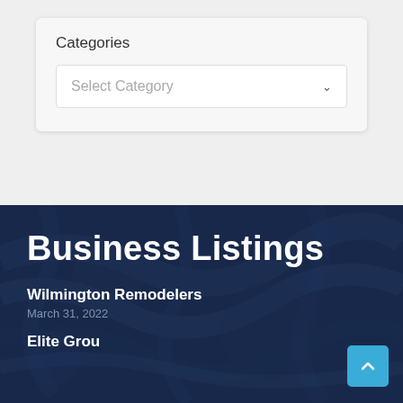Categories
Select Category
Business Listings
Wilmington Remodelers
March 31, 2022
Elite Grou...